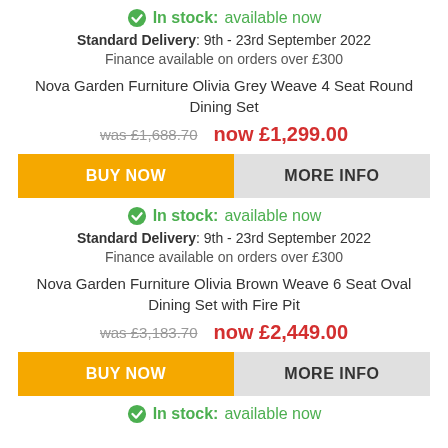In stock: available now
Standard Delivery: 9th - 23rd September 2022
Finance available on orders over £300
Nova Garden Furniture Olivia Grey Weave 4 Seat Round Dining Set
was £1,688.70  now £1,299.00
BUY NOW | MORE INFO
In stock: available now
Standard Delivery: 9th - 23rd September 2022
Finance available on orders over £300
Nova Garden Furniture Olivia Brown Weave 6 Seat Oval Dining Set with Fire Pit
was £3,183.70  now £2,449.00
BUY NOW | MORE INFO
In stock: available now